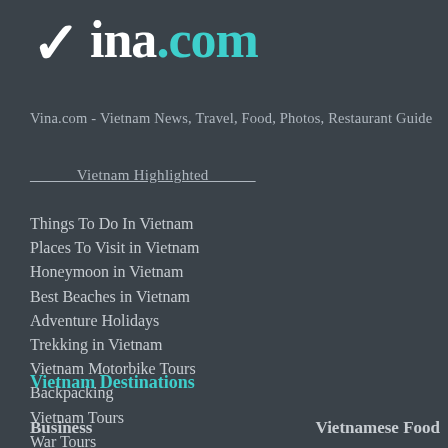[Figure (logo): Vina.com logo with checkmark icon, white text 'vina' and teal '.com']
Vina.com - Vietnam News, Travel, Food, Photos, Restaurant Guide
______Vietnam Highlighted______
Things To Do In Vietnam
Places To Visit in Vietnam
Honeymoon in Vietnam
Best Beaches in Vietnam
Adventure Holidays
Trekking in Vietnam
Vietnam Motorbike Tours
Backpacking
Vietnam Tours
War Tours
Vietnam Destinations
Business
Vietnamese Food